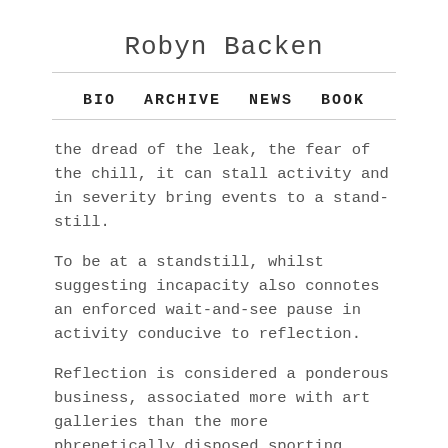Robyn Backen
BIO   ARCHIVE   NEWS   BOOK
the dread of the leak, the fear of the chill, it can stall activity and in severity bring events to a stand-still.
To be at a standstill, whilst suggesting incapacity also connotes an enforced wait-and-see pause in activity conducive to reflection.
Reflection is considered a ponderous business, associated more with art galleries than the more phrenetically disposed sporting venues. Break in Play decelerates play-time towards a